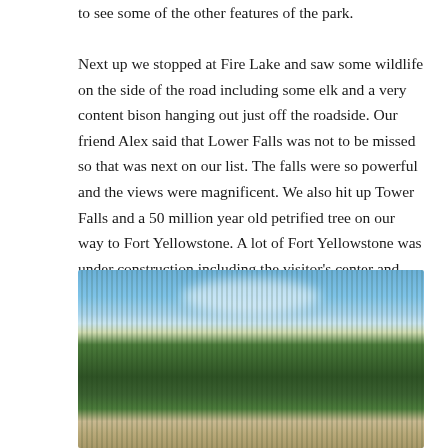to see some of the other features of the park.

Next up we stopped at Fire Lake and saw some wildlife on the side of the road including some elk and a very content bison hanging out just off the roadside. Our friend Alex said that Lower Falls was not to be missed so that was next on our list. The falls were so powerful and the views were magnificent. We also hit up Tower Falls and a 50 million year old petrified tree on our way to Fort Yellowstone. A lot of Fort Yellowstone was under construction including the visitor’s center and some roads.  (We later assumed after a lot of searching that Katie left her Nalgene bottle at the Fort Yellowstone visitor center.)
[Figure (photo): Landscape photograph showing a forest of evergreen trees (pine/spruce) with rocky ground in the foreground and a blue sky with scattered white clouds above. The scene appears to be taken in Yellowstone National Park area.]